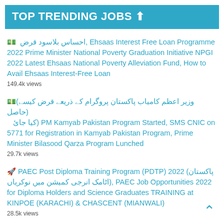TOP TRENDING JOBS ↑
💵 احساس بلاسود قرض, Ehsaas Interest Free Loan Programme 2022 Prime Minister National Poverty Graduation Initiative NPGI 2022 Latest Ehsaas National Poverty Alleviation Fund, How to Avail Ehsaas Interest-Free Loan
149.4k views
💵(وزیر اعظم کامیاب پاکستان پروگرام کے ذریعے قرض کیسے حاصل) کیا جائ) PM Kamyab Pakistan Program Started, SMS CNIC on 5771 for Registration in Kamyab Pakistan Program, Prime Minister Bilasood Qarza Program Lunched
29.7k views
🚀 PAEC Post Diploma Training Program (PDTP) 2022 (پاکستان اٹامک انرجی کمیشن میں نوکریاں), PAEC Job Opportunities 2022 for Diploma Holders and Science Graduates TRAINING at KINPOE (KARACHI) & CHASCENT (MIANWALI)
28.5k views